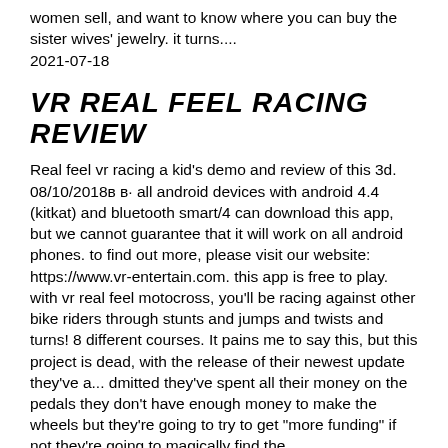women sell, and want to know where you can buy the sister wives' jewelry. it turns....
2021-07-18
VR REAL FEEL RACING REVIEW
Real feel vr racing a kid's demo and review of this 3d. 08/10/2018в в· all android devices with android 4.4 (kitkat) and bluetooth smart/4 can download this app, but we cannot guarantee that it will work on all android phones. to find out more, please visit our website: https://www.vr-entertain.com. this app is free to play. with vr real feel motocross, you'll be racing against other bike riders through stunts and jumps and twists and turns! 8 different courses. It pains me to say this, but this project is dead, with the release of their newest update they've a... dmitted they've spent all their money on the pedals they don't have enough money to make the wheels but they're going to try to get "more funding" if not they're going to magically find the